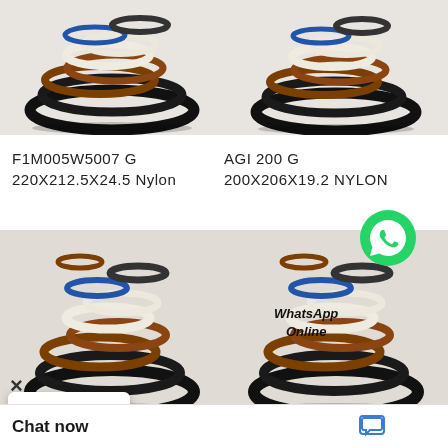[Figure (photo): Photo of seal rings / guide rings bundle, various colors (black, brown, white, blue), top-left]
[Figure (photo): Photo of seal rings / guide rings bundle, various colors (black, brown, white, blue), top-right]
F1M005W5007 G
220X212.5X24.5 Nylon
AGI 200 G
200X206X19.2 NYLON
[Figure (photo): Photo of seal rings / guide rings bundle, bottom-left]
[Figure (photo): Photo of seal rings / guide rings bundle with WhatsApp Online overlay, bottom-right]
AGE 200 G
AGI 195 G 195X201X19.2 N Nylon Guide
Chat now